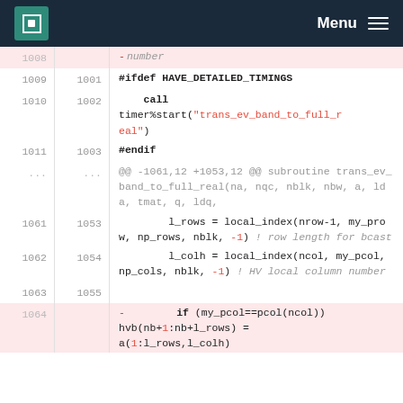MPCDF Menu
[Figure (screenshot): Code diff view showing Fortran source lines 1008-1064 with line numbers, deletions highlighted in pink, and code content including #ifdef HAVE_DETAILED_TIMINGS, call timer%start, #endif, hunk header, l_rows and l_colh assignments, and a deleted if statement.]